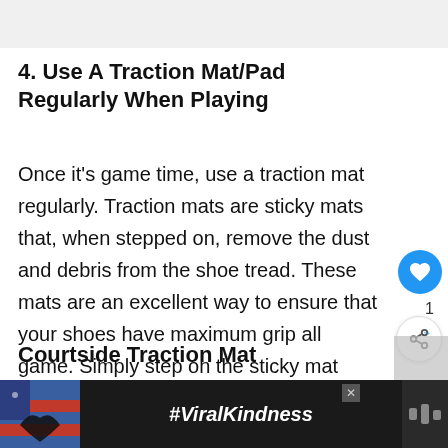4. Use A Traction Mat/Pad Regularly When Playing
Once it's game time, use a traction mat regularly. Traction mats are sticky mats that, when stepped on, remove the dust and debris from the shoe tread. These mats are an excellent way to ensure that your shoes have maximum grip all game. Simply step on the sticky mat during timeouts, at the end of each quarter, and during halftime.
Courtside Traction Mat
[Figure (photo): Partial photo with orange top border, showing person in dark clothing against light background]
[Figure (photo): Advertisement bar at bottom: dark background with heart hands silhouette against American flag, #ViralKindness text, close button, and logo dots]